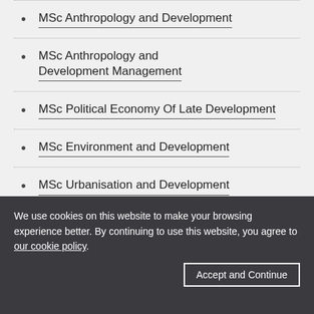MSc Anthropology and Development
MSc Anthropology and Development Management
MSc Political Economy Of Late Development
MSc Environment and Development
MSc Urbanisation and Development
We use cookies on this website to make your browsing experience better. By continuing to use this website, you agree to our cookie policy.